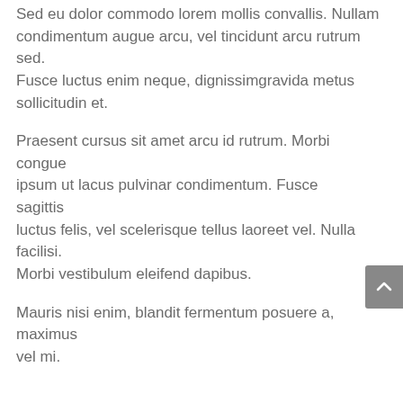Sed eu dolor commodo lorem mollis convallis. Nullam condimentum augue arcu, vel tincidunt arcu rutrum sed. Fusce luctus enim neque, dignissimgravida metus sollicitudin et.
Praesent cursus sit amet arcu id rutrum. Morbi congue ipsum ut lacus pulvinar condimentum. Fusce sagittis luctus felis, vel scelerisque tellus laoreet vel. Nulla facilisi. Morbi vestibulum eleifend dapibus.
Mauris nisi enim, blandit fermentum posuere a, maximus vel mi.